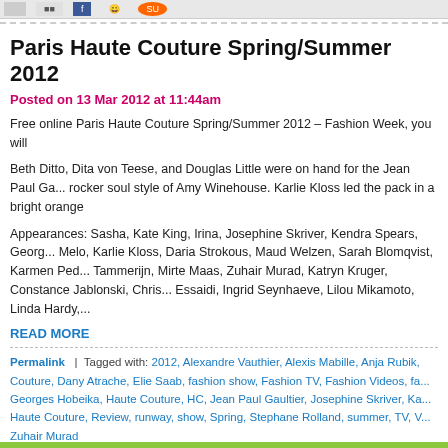[navigation bar]
Paris Haute Couture Spring/Summer 2012
Posted on 13 Mar 2012 at 11:44am
Free online Paris Haute Couture Spring/Summer 2012 – Fashion Week, you will
Beth Ditto, Dita von Teese, and Douglas Little were on hand for the Jean Paul Ga... rocker soul style of Amy Winehouse. Karlie Kloss led the pack in a bright orange
Appearances: Sasha, Kate King, Irina, Josephine Skriver, Kendra Spears, Georg... Melo, Karlie Kloss, Daria Strokous, Maud Welzen, Sarah Blomqvist, Karmen Ped... Tammerijn, Mirte Maas, Zuhair Murad, Katryn Kruger, Constance Jablonski, Chris... Essaidi, Ingrid Seynhaeve, Lilou Mikamoto, Linda Hardy,...
READ MORE
Permalink  |  Tagged with: 2012, Alexandre Vauthier, Alexis Mabille, Anja Rubik, Couture, Dany Atrache, Elie Saab, fashion show, Fashion TV, Fashion Videos, fa... Georges Hobeika, Haute Couture, HC, Jean Paul Gaultier, Josephine Skriver, Ka... Haute Couture, Review, runway, show, Spring, Stephane Rolland, summer, TV, V... Zuhair Murad
POST TO: DIGG FACEBOOK YAHOO! BUZZ STUMBLEUPON